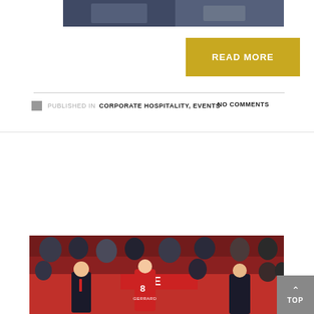[Figure (photo): Partial view of a photo at the top of the page showing people at an event, cropped]
READ MORE
PUBLISHED IN CORPORATE HOSPITALITY, EVENTS   NO COMMENTS
Liverpool FC Legends v AC Milan Glorie Charity Match 2019
[Figure (photo): Photo of Liverpool FC players including player number 8 (Gerrard) walking out onto the pitch through a crowd of fans holding a red banner]